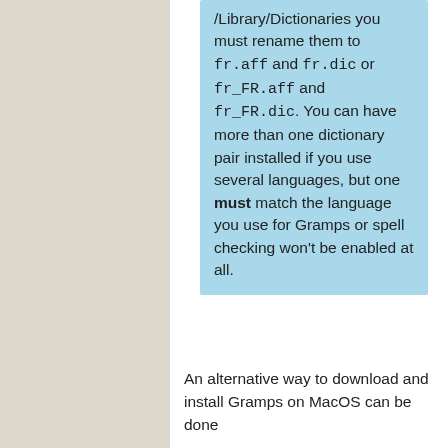/Library/Dictionaries you must rename them to fr.aff and fr.dic or fr_FR.aff and fr_FR.dic. You can have more than one dictionary pair installed if you use several languages, but one must match the language you use for Gramps or spell checking won't be enabled at all.
An alternative way to download and install Gramps on MacOS can be done